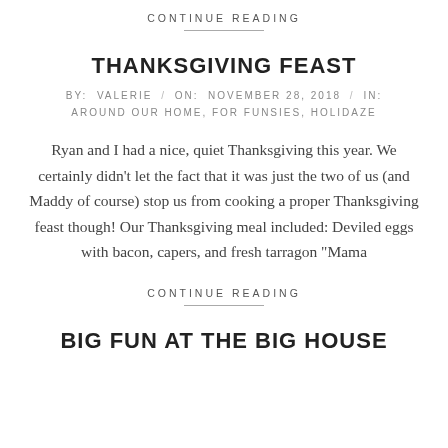CONTINUE READING
THANKSGIVING FEAST
BY: VALERIE / ON: NOVEMBER 28, 2018 / IN: AROUND OUR HOME, FOR FUNSIES, HOLIDAZE
Ryan and I had a nice, quiet Thanksgiving this year. We certainly didn't let the fact that it was just the two of us (and Maddy of course) stop us from cooking a proper Thanksgiving feast though! Our Thanksgiving meal included: Deviled eggs with bacon, capers, and fresh tarragon “Mama
CONTINUE READING
BIG FUN AT THE BIG HOUSE